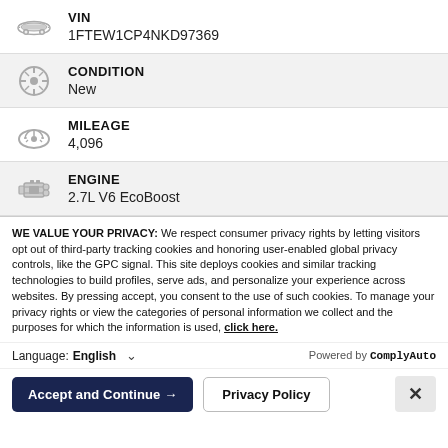VIN
1FTEW1CP4NKD97369
CONDITION
New
MILEAGE
4,096
ENGINE
2.7L V6 EcoBoost
WE VALUE YOUR PRIVACY: We respect consumer privacy rights by letting visitors opt out of third-party tracking cookies and honoring user-enabled global privacy controls, like the GPC signal. This site deploys cookies and similar tracking technologies to build profiles, serve ads, and personalize your experience across websites. By pressing accept, you consent to the use of such cookies. To manage your privacy rights or view the categories of personal information we collect and the purposes for which the information is used, click here.
Language: English  Powered by ComplyAuto
Accept and Continue →  Privacy Policy  ×